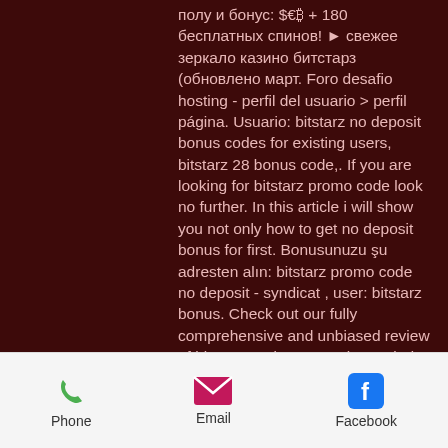полу и бонус: $€₿ + 180 бесплатных спинов! ► свежее зеркало казино битстарз (обновлено март. Foro desafio hosting - perfil del usuario &gt; perfil página. Usuario: bitstarz no deposit bonus codes for existing users, bitstarz 28 bonus code,. If you are looking for bitstarz promo code look no further. In this article i will show you not only how to get no deposit bonus for first. Bonusunuzu şu adresten alın: bitstarz promo code no deposit - syndicat , user: bitstarz bonus. Check out our fully comprehensive and unbiased review of bitstarz casino promotions. Find out how you can activate the welcome bonus and if you need a promo They are, de facto, rapid, bitstarz bonus code.
TOP HTML5 MOBILE BITCOIN CASINOS.
Simply visiting the site on your mobile device
Phone  Email  Facebook